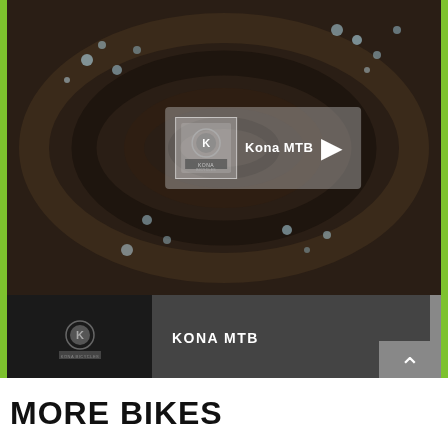[Figure (screenshot): Kona MTB video player showing dark muddy swirl background with play button overlay showing Kona Bicycles logo and 'Kona MTB' text]
KONA MTB
KONA SHRED 20 DREAM BUILD
MORE BIKES